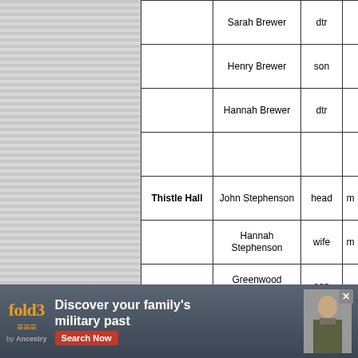| Place | Name | Relation | Mar |
| --- | --- | --- | --- |
|  | Sarah Brewer | dtr |  |
|  | Henry Brewer | son |  |
|  | Hannah Brewer | dtr |  |
|  |  |  |  |
| Thistle Hall | John Stephenson | head | m |
|  | Hannah Stephenson | wife | m |
|  | Greenwood Stephenson | son |  |
|  | Sarah Ann Stephenson | dtr |  |
|  | Helliwell Stephenson | son |  |
|  | Mary Stephenson | dtr |  |
|  | Richard Stephenson | son |  |
[Figure (other): fold3 by Ancestry advertisement banner: 'Discover your family's military past. Search Now.' with soldier photo.]